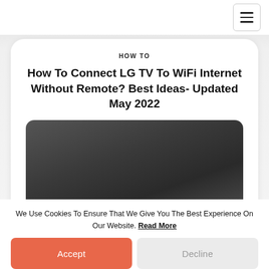≡
HOW TO
How To Connect LG TV To WiFi Internet Without Remote? Best Ideas- Updated May 2022
[Figure (photo): Dark background photo of a TV setup, partially visible at the bottom of the card]
We Use Cookies To Ensure That We Give You The Best Experience On Our Website. Read More
Accept
Decline